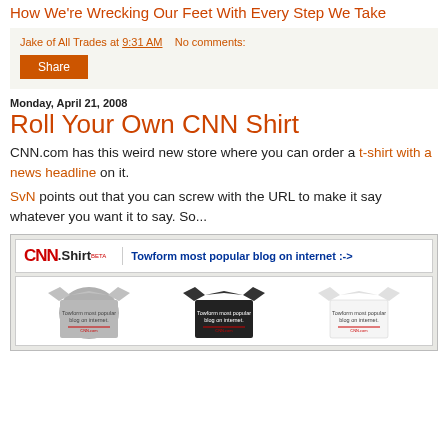How We're Wrecking Our Feet With Every Step We Take
Jake of All Trades at 9:31 AM   No comments:
Share
Monday, April 21, 2008
Roll Your Own CNN Shirt
CNN.com has this weird new store where you can order a t-shirt with a news headline on it.
SvN points out that you can screw with the URL to make it say whatever you want it to say. So...
[Figure (screenshot): Screenshot of CNN Shirt website showing header with CNN logo and 'Towform most popular blog on internet' headline, plus three t-shirts (gray, black, white) with the same text printed on them]